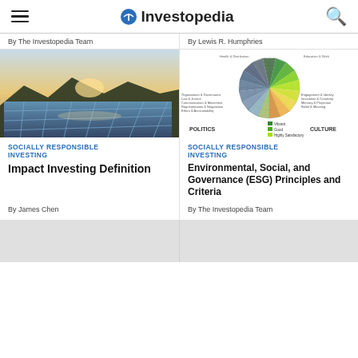Investopedia
By The Investopedia Team
By Lewis R. Humphries
[Figure (photo): Solar panels reflecting sunlight, landscape photo]
[Figure (radar-chart): ESG radar/spider chart showing Politics and Culture axes with colored segments for Vibrant, Good, Highly Satisfactory, Satisfactory+, Satisfactory categories]
SOCIALLY RESPONSIBLE INVESTING
Impact Investing Definition
By James Chen
SOCIALLY RESPONSIBLE INVESTING
Environmental, Social, and Governance (ESG) Principles and Criteria
By The Investopedia Team